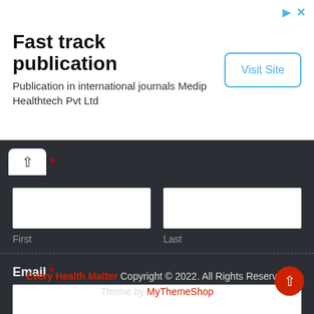Fast track publication
Publication in international journals Medip Healthtech Pvt Ltd
Visit Site
[Figure (screenshot): Web form with First, Last name fields and Email field with Submit button on dark background]
Every Health Matter Copyright © 2022. All Rights Reserved Theme by MyThemeShop